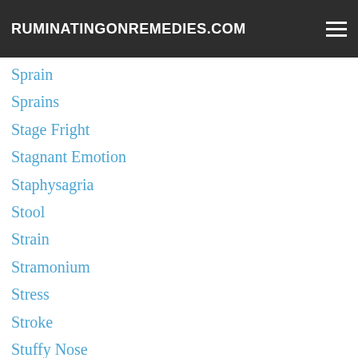RUMINATINGONREMEDIES.COM
Sprain
Sprains
Stage Fright
Stagnant Emotion
Staphysagria
Stool
Strain
Stramonium
Stress
Stroke
Stuffy Nose
Sulphur
Sun
Sunburn
Sunstroke
Surgery
Swollen Glands